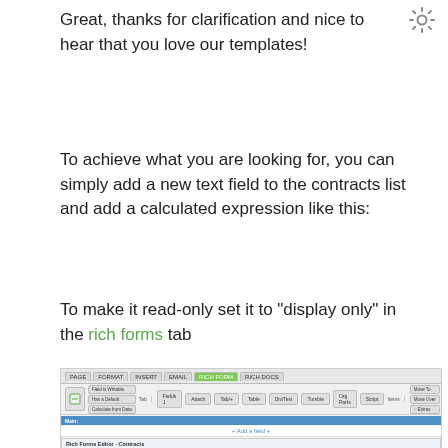Great, thanks for clarification and nice to hear that you love our templates!
To achieve what you are looking for, you can simply add a new text field to the contracts list and add a calculated expression like this:
To make it read-only set it to "display only" in the rich forms tab
[Figure (screenshot): Screenshot of a rich forms editor UI in a CRM/contract management application, showing a toolbar with tabs (PAGE, FORMAT, INSERT, EMAIL, RICH FORM, RICH DOCS), toolbar buttons including a highlighted 'Only Display' button with a red border, a grid/list area showing 'Main:' section header in blue, an '+ Add a field +' link, a 'Rich Forms Editor - Contracts' panel with rows for 'Contract No.', 'Account Contact' fields with form field values.]